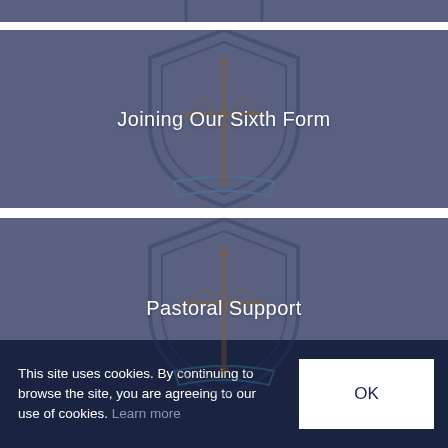[Figure (screenshot): Partially visible navigation card with school crest (cropped at top)]
[Figure (screenshot): Navigation card with school crest and text 'Joining Our Sixth Form' on blue-grey background]
[Figure (screenshot): Navigation card with school crest and text 'Pastoral Support' on blue-grey background]
This site uses cookies. By continuing to browse the site, you are agreeing to our use of cookies. Learn more